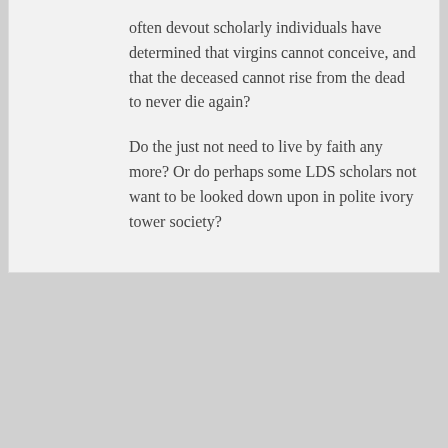often devout scholarly individuals have determined that virgins cannot conceive, and that the deceased cannot rise from the dead to never die again?
Do the just not need to live by faith any more? Or do perhaps some LDS scholars not want to be looked down upon in polite ivory tower society?
Dave
September 14, 2011 at 10:31 am
Bryan: I think it's easier for a biblical scholar to dismiss the miraculous claims of the Bible, and still see it as a document of some historical value. It was, after all, the product of many different authors, some of whom were